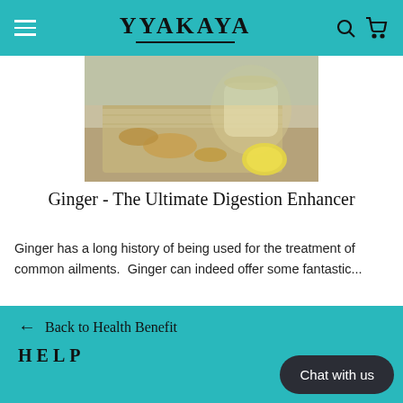WAKAYA
[Figure (photo): Photo of ginger tea in a glass cup with ginger root pieces and lemon slices on a wooden cutting board]
Ginger - The Ultimate Digestion Enhancer
Ginger has a long history of being used for the treatment of common ailments.  Ginger can indeed offer some fantastic...
READ MORE
← Back to Health Benefits
HELP
Chat with us